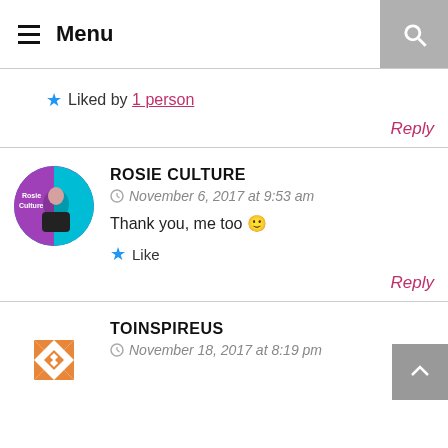Menu
★ Liked by 1 person
Reply
ROSIE CULTURE
November 6, 2017 at 9:53 am
Thank you, me too 🙂
★ Like
Reply
TOINSPIREUS
November 18, 2017 at 8:19 pm